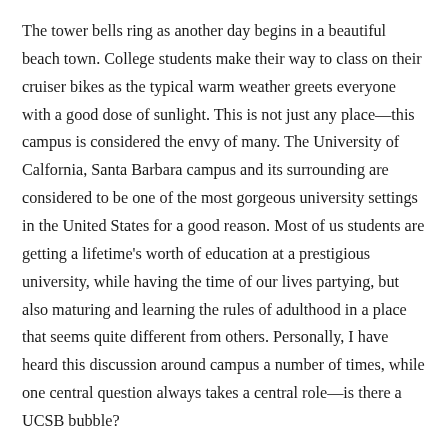The tower bells ring as another day begins in a beautiful beach town. College students make their way to class on their cruiser bikes as the typical warm weather greets everyone with a good dose of sunlight. This is not just any place—this campus is considered the envy of many. The University of Calfornia, Santa Barbara campus and its surrounding are considered to be one of the most gorgeous university settings in the United States for a good reason. Most of us students are getting a lifetime's worth of education at a prestigious university, while having the time of our lives partying, but also maturing and learning the rules of adulthood in a place that seems quite different from others. Personally, I have heard this discussion around campus a number of times, while one central question always takes a central role—is there a UCSB bubble?